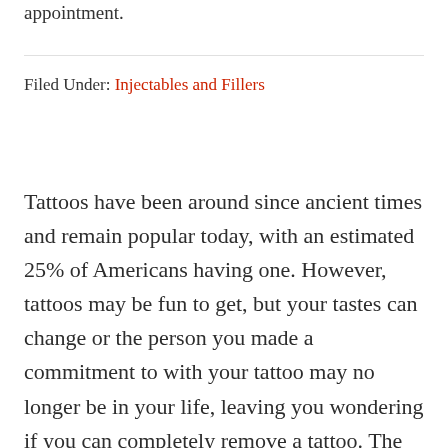appointment.
Filed Under: Injectables and Fillers
Tattoos have been around since ancient times and remain popular today, with an estimated 25% of Americans having one. However, tattoos may be fun to get, but your tastes can change or the person you made a commitment to with your tattoo may no longer be in your life, leaving you wondering if you can completely remove a tattoo. The desire to find a way to get rid of tattoos so that you’re not stuck with them the rest of your life